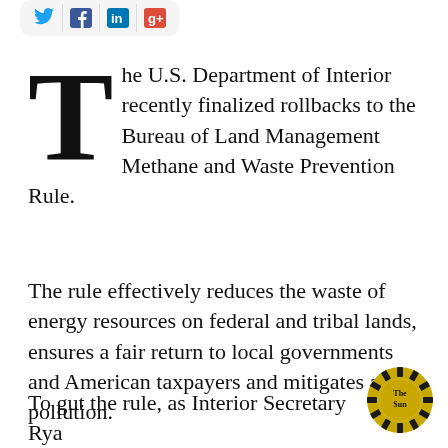[Figure (other): Social media share buttons: Twitter, Facebook, LinkedIn, Google+]
The U.S. Department of Interior recently finalized rollbacks to the Bureau of Land Management Methane and Waste Prevention Rule.
The rule effectively reduces the waste of energy resources on federal and tribal lands, ensures a fair return to local governments and American taxpayers and mitigates air pollution.
To gut the rule, as Interior Secretary Ryan Zinke has done, not only defies common
[Figure (logo): The Sun circular logo with sunburst rays, gold and black colors]